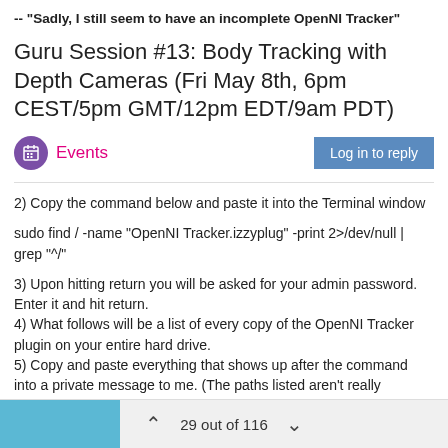-- "Sadly, I still seem to have an incomplete OpenNI Tracker"
Guru Session #13: Body Tracking with Depth Cameras (Fri May 8th, 6pm CEST/5pm GMT/12pm EDT/9am PDT)
Events  |  Log in to reply
2) Copy the command below and paste it into the Terminal window
sudo find / -name "OpenNI Tracker.izzyplug" -print 2>/dev/null | grep "^\/"
3) Upon hitting return you will be asked for your admin password. Enter it and hit return.
4) What follows will be a list of every copy of the OpenNI Tracker plugin on your entire hard drive.
5) Copy and paste everything that shows up after the command into a private message to me. (The paths listed aren't really sensitive data, but it's better that you send it privately to me.)
29 out of 116